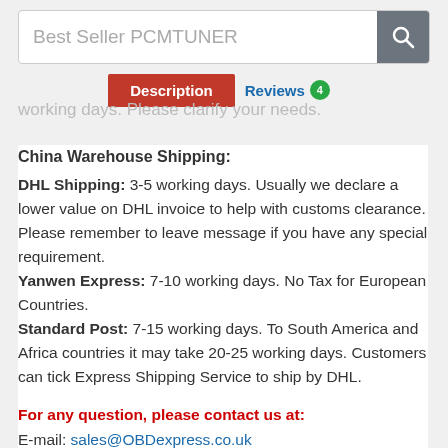Best Seller PCMTUNER
Description | Reviews 4
working days. Please clarify your needs.
China Warehouse Shipping:
DHL Shipping: 3-5 working days. Usually we declare a lower value on DHL invoice to help with customs clearance. Please remember to leave message if you have any special requirement.
Yanwen Express: 7-10 working days. No Tax for European Countries.
Standard Post: 7-15 working days. To South America and Africa countries it may take 20-25 working days. Customers can tick Express Shipping Service to ship by DHL.
For any question, please contact us at:
E-mail: sales@OBDexpress.co.uk